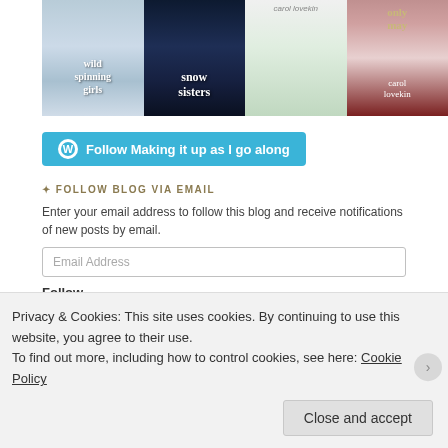[Figure (illustration): Four book covers displayed in a row: 'Wild Spinning Girls', 'Snow Sisters', a Carol Lovekin green cover, and 'Only May' by Carol Lovekin]
Follow Making it up as I go along
FOLLOW BLOG VIA EMAIL
Enter your email address to follow this blog and receive notifications of new posts by email.
Email Address
Follow
Join 166 other followers
Privacy & Cookies: This site uses cookies. By continuing to use this website, you agree to their use.
To find out more, including how to control cookies, see here: Cookie Policy
Close and accept